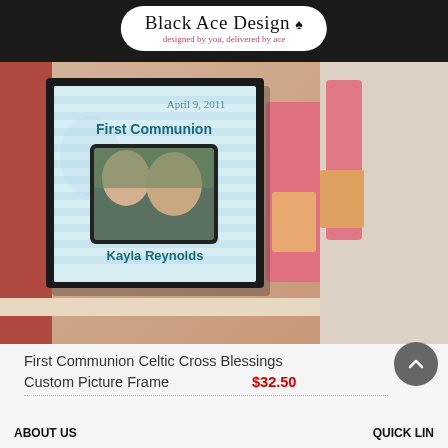Black Ace Design — designed by you, delivered by ace
[Figure (photo): Product photo of a First Communion Celtic Cross Blessings Custom Picture Frame. The frame shows 'First Communion' in teal bold text, 'April 9, 2011' in script, a photo of a girl kissing a smiling man, and 'Kayla Reynolds' in teal bold text. The frame has a black border and light blue striped background.]
First Communion Celtic Cross Blessings
Custom Picture Frame
$32.50
ABOUT US
QUICK LIN